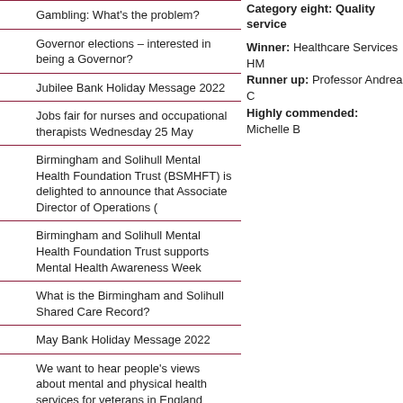Gambling: What's the problem?
Governor elections – interested in being a Governor?
Jubilee Bank Holiday Message 2022
Jobs fair for nurses and occupational therapists Wednesday 25 May
Birmingham and Solihull Mental Health Foundation Trust (BSMHFT) is delighted to announce that Associate Director of Operations (
Birmingham and Solihull Mental Health Foundation Trust supports Mental Health Awareness Week
What is the Birmingham and Solihull Shared Care Record?
May Bank Holiday Message 2022
We want to hear people's views about mental and physical health services for veterans in England
Easter Bank Holiday Message 2022
Category eight: Quality service
Winner: Healthcare Services HM
Runner up: Professor Andrea C
Highly commended: Michelle B